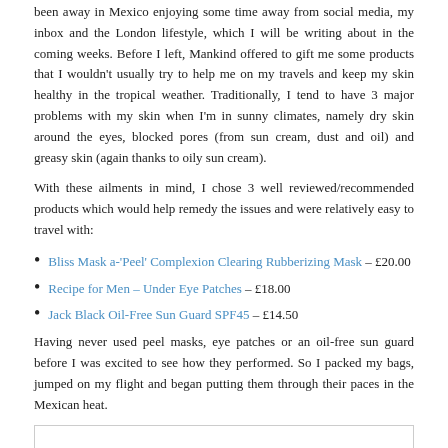been away in Mexico enjoying some time away from social media, my inbox and the London lifestyle, which I will be writing about in the coming weeks. Before I left, Mankind offered to gift me some products that I wouldn't usually try to help me on my travels and keep my skin healthy in the tropical weather. Traditionally, I tend to have 3 major problems with my skin when I'm in sunny climates, namely dry skin around the eyes, blocked pores (from sun cream, dust and oil) and greasy skin (again thanks to oily sun cream).
With these ailments in mind, I chose 3 well reviewed/recommended products which would help remedy the issues and were relatively easy to travel with:
Bliss Mask a-'Peel' Complexion Clearing Rubberizing Mask – £20.00
Recipe for Men – Under Eye Patches – £18.00
Jack Black Oil-Free Sun Guard SPF45 – £14.50
Having never used peel masks, eye patches or an oil-free sun guard before I was excited to see how they performed. So I packed my bags, jumped on my flight and began putting them through their paces in the Mexican heat.
VIEW POST
SHARE: 0 COMMENTS